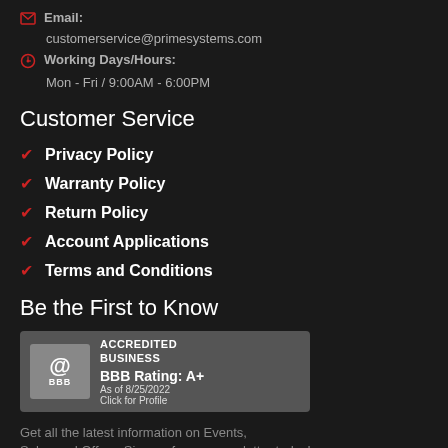Email: customerservice@primesystems.com
Working Days/Hours: Mon - Fri / 9:00AM - 6:00PM
Customer Service
Privacy Policy
Warranty Policy
Return Policy
Account Applications
Terms and Conditions
Be the First to Know
[Figure (logo): BBB Accredited Business badge with rating A+ as of 8/25/2022, Click for Profile]
Get all the latest information on Events, Sales and Offers. Sign up for our newsletter today!